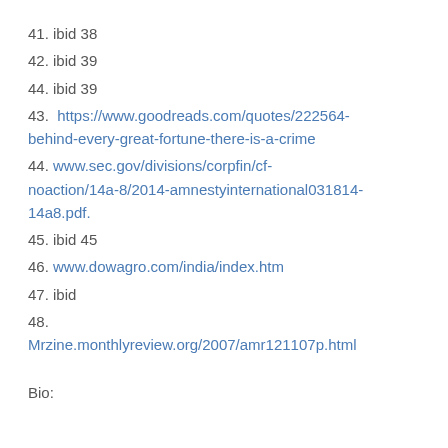41. ibid 38
42. ibid 39
44. ibid 39
43.  https://www.goodreads.com/quotes/222564-behind-every-great-fortune-there-is-a-crime
44. www.sec.gov/divisions/corpfin/cf-noaction/14a-8/2014-amnestyinternational031814-14a8.pdf.
45. ibid 45
46. www.dowagro.com/india/index.htm
47. ibid
48. Mrzine.monthlyreview.org/2007/amr121107p.html
Bio: